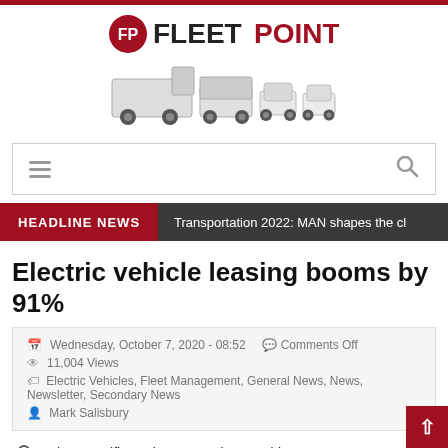[Figure (logo): FleetPoint logo with circular FP icon in red, FLEET in dark gray bold, POINT in red bold, with vehicle images below (truck, van, cars)]
HEADLINE NEWS   Transportation 2022: MAN shapes the cl
Electric vehicle leasing booms by 91%
Wednesday, October 7, 2020 - 08:52   Comments Off
11,004 Views
Electric Vehicles, Fleet Management, General News, News, Newsletter, Secondary News
Mark Salisbury
Salary sacrifice schemes saving EV drivers on average between 30-40% on monthly leasing costs since 0% Benefit in Kind tax incentive for EVs reintroduced
Benefit in Kind tax incentive for EVs reintroduced